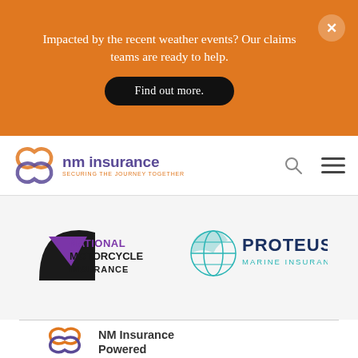Impacted by the recent weather events? Our claims teams are ready to help.
Find out more.
[Figure (logo): NM Insurance logo with orange/purple knotted ribbon icon and text 'nm insurance SECURING THE JOURNEY TOGETHER']
[Figure (logo): National Motorcycle Insurance logo - black shield with purple text]
[Figure (logo): Proteus Marine Insurance logo - teal globe icon with dark blue text]
[Figure (logo): NM Insurance Powered logo - large orange/purple knotted ribbon icon with text 'NM Insurance Powered']